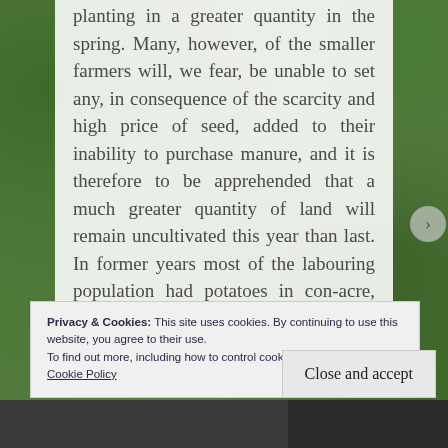planting in a greater quantity in the spring. Many, however, of the smaller farmers will, we fear, be unable to set any, in consequence of the scarcity and high price of seed, added to their inability to purchase manure, and it is therefore to be apprehended that a much greater quantity of land will remain uncultivated this year than last. In former years most of the labouring population had potatoes in con-acre, but their impoverished conditions now renders them incapable of making any preparations for having a crop in the present season. Even if they
Privacy & Cookies: This site uses cookies. By continuing to use this website, you agree to their use.
To find out more, including how to control cookies, see here: Cookie Policy
Close and accept